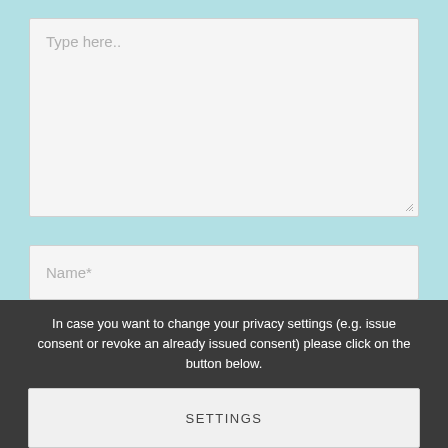[Figure (screenshot): A large text area input field with placeholder text 'Type here..' and a resize handle in the bottom-right corner, on a light gray background.]
[Figure (screenshot): A single-line text input field with placeholder text 'Name*', on a light gray background.]
In case you want to change your privacy settings (e.g. issue consent or revoke an already issued consent) please click on the button below.
SETTINGS